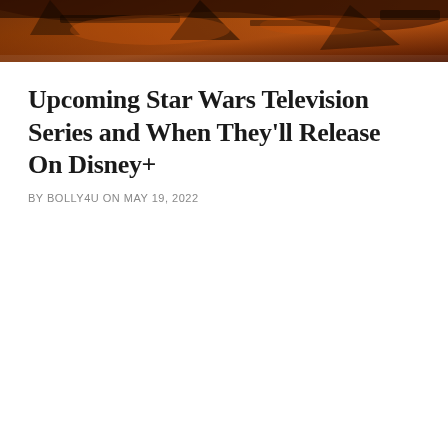[Figure (photo): A dark orange/amber toned Star Wars scene showing spacecraft or machinery in a dramatic cinematic composition]
Upcoming Star Wars Television Series and When They'll Release On Disney+
BY BOLLY4U ON MAY 19, 2022